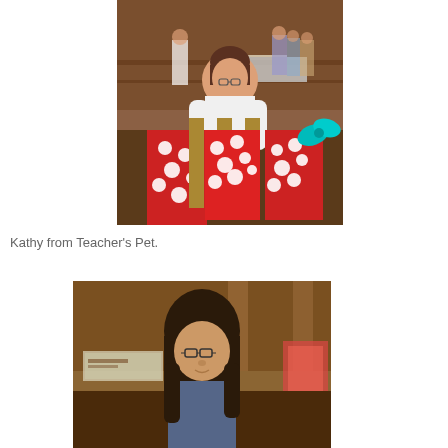[Figure (photo): A woman holding red and white polka-dot gift bags at what appears to be a convention or event hall. Other people are visible in the background near tables.]
Kathy from Teacher's Pet.
[Figure (photo): A woman with dark hair and glasses at what appears to be a convention or vendor event, with tables and displays visible in the background.]